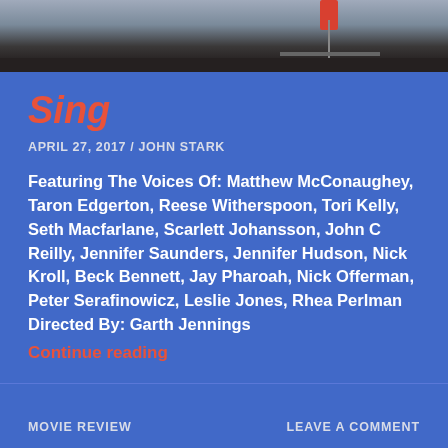[Figure (photo): Top portion of a movie image strip, partially cropped, showing a dark bar at the bottom and lighter tones above. A red object is partially visible at the top.]
Sing
APRIL 27, 2017 / JOHN STARK
Featuring The Voices Of: Matthew McConaughey, Taron Edgerton, Reese Witherspoon, Tori Kelly, Seth Macfarlane, Scarlett Johansson, John C Reilly, Jennifer Saunders, Jennifer Hudson, Nick Kroll, Beck Bennett, Jay Pharoah, Nick Offerman, Peter Serafinowicz, Leslie Jones, Rhea Perlman Directed By: Garth Jennings
Continue reading
MOVIE REVIEW    LEAVE A COMMENT